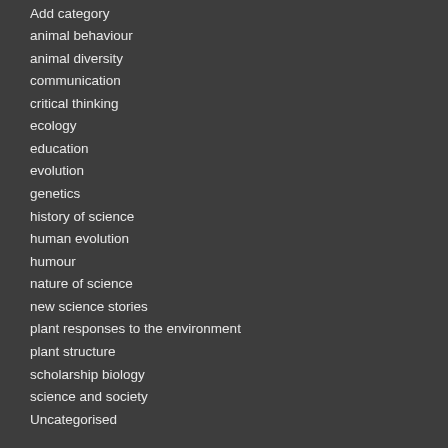Add category
animal behaviour
animal diversity
communication
critical thinking
ecology
education
evolution
genetics
history of science
human evolution
humour
nature of science
new science stories
plant responses to the environment
plant structure
scholarship biology
science and society
Uncategorised
Meta